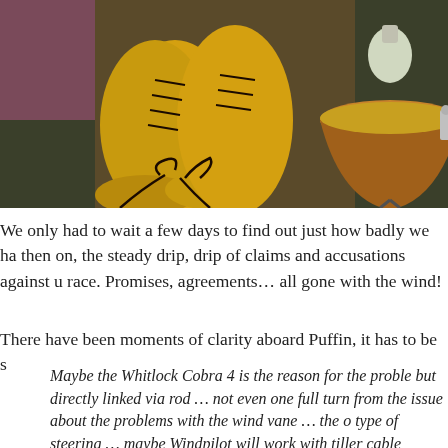[Figure (photo): Yellow lace-up boots on the left and a copper bowl lamp with a light bulb on the right, against a dark green background.]
We only had to wait a few days to find out just how badly we ha then on, the steady drip, drip of claims and accusations against u race. Promises, agreements… all gone with the wind!
There have been moments of clarity aboard Puffin, it has to be s
Maybe the Whitlock Cobra 4 is the reason for the proble but directly linked via rod … not even one full turn from the issue about the problems with the wind vane … the o type of steering … maybe Windpilot will work with tiller cable steering below the cockpit floor would block my l